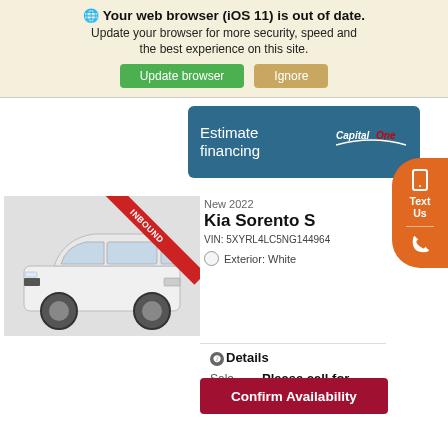🌐 Your web browser (iOS 11) is out of date. Update your browser for more security, speed and the best experience on this site.
Update browser
Ignore
[Figure (screenshot): Estimate financing banner with Capital One logo]
[Figure (photo): White Kia Sorento S SUV with INBOUND badge]
New 2022
Kia Sorento S
VIN: 5XYRL4LC5NG144964
Exterior: White
❷Details
Sale Price    Please call for price
Confirm Availability